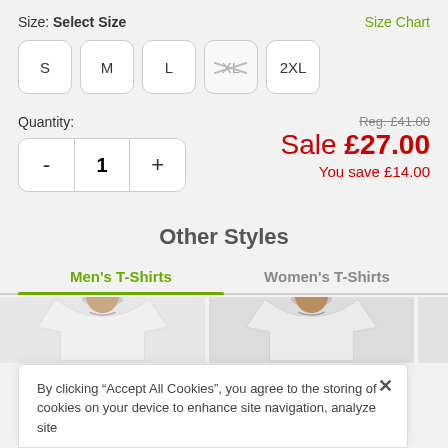Size: Select Size
Size Chart
S
M
L
XL (unavailable)
2XL
Quantity:
Reg. £41.00
Sale £27.00
You save £14.00
Other Styles
Men's T-Shirts
Women's T-Shirts
[Figure (photo): Two product photos of men's white t-shirts partially visible]
By clicking “Accept All Cookies”, you agree to the storing of cookies on your device to enhance site navigation, analyze site